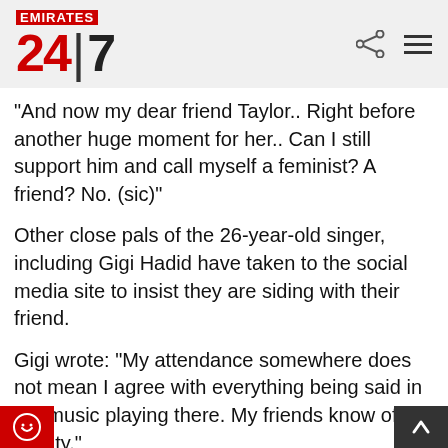Emirates 24|7
"And now my dear friend Taylor.. Right before another huge moment for her.. Can I still support him and call myself a feminist? A friend? No. (sic)"
Other close pals of the 26-year-old singer, including Gigi Hadid have taken to the social media site to insist they are siding with their friend.
Gigi wrote: "My attendance somewhere does not mean I agree with everything being said in the music playing there. My friends know of my loyalty."
Jaime King added: "I'm so sad right now & appointed right now. I stand by my sister. Always..."